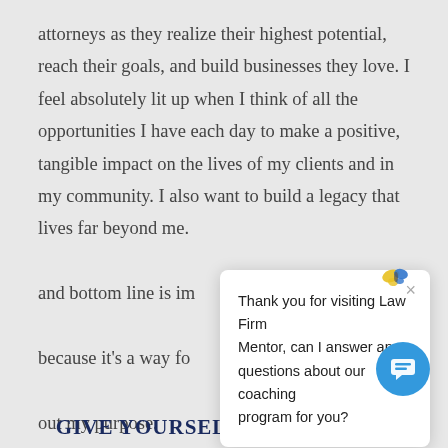attorneys as they realize their highest potential, reach their goals, and build businesses they love. I feel absolutely lit up when I think of all the opportunities I have each day to make a positive, tangible impact on the lives of my clients and in my community. I also want to build a legacy that lives far beyond me. and bottom line is im because it's a way fo out my purpose.
[Figure (screenshot): Chat popup overlay with close button (×) and text: 'Thank you for visiting Law Firm Mentor, can I answer any questions about our coaching program for you?' with a colorful butterfly/bird icon above it and a blue circular chat button in the bottom right.]
GIVE YOURSELF THE GIFT OF